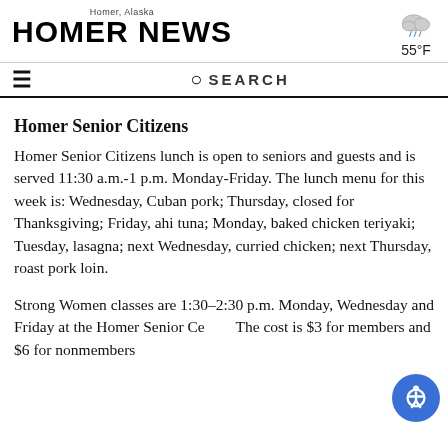Homer, Alaska — HOMER NEWS — 55°F
Homer Senior Citizens
Homer Senior Citizens lunch is open to seniors and guests and is served 11:30 a.m.-1 p.m. Monday-Friday. The lunch menu for this week is: Wednesday, Cuban pork; Thursday, closed for Thanksgiving; Friday, ahi tuna; Monday, baked chicken teriyaki; Tuesday, lasagna; next Wednesday, curried chicken; next Thursday, roast pork loin.
Strong Women classes are 1:30-2:30 p.m. Monday, Wednesday and Friday at the Homer Senior Ce... The cost is $3 for members and $6 for nonmembers